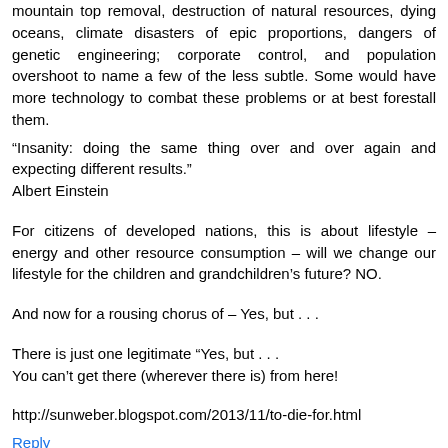mountain top removal, destruction of natural resources, dying oceans, climate disasters of epic proportions, dangers of genetic engineering; corporate control, and population overshoot to name a few of the less subtle. Some would have more technology to combat these problems or at best forestall them.
“Insanity: doing the same thing over and over again and expecting different results.”
Albert Einstein
For citizens of developed nations, this is about lifestyle – energy and other resource consumption – will we change our lifestyle for the children and grandchildren’s future? NO.
And now for a rousing chorus of – Yes, but . . .
There is just one legitimate “Yes, but . . .
You can’t get there (wherever there is) from here!
http://sunweber.blogspot.com/2013/11/to-die-for.html
Reply